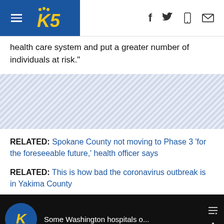KING 5 News (King5.com) - navigation header with logo and social icons
health care system and put a greater number of individuals at risk."
[Figure (other): Advertisement or placeholder stripe with diagonal hatching pattern]
RELATED: Spokane County not moving to Phase 3 'for the foreseeable future,' health officer says
RELATED: This is how bad the coronavirus outbreak is in Yakima County
[Figure (screenshot): Video thumbnail showing KING 5 logo and title 'Some Washington hospitals o...' with video controls]